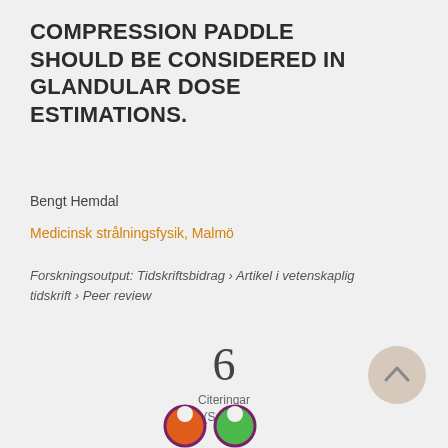COMPRESSION PADDLE SHOULD BE CONSIDERED IN GLANDULAR DOSE ESTIMATIONS.
Bengt Hemdal
Medicinsk strålningsfysik, Malmö
Forskningsoutput: Tidskriftsbidrag › Artikel i vetenskaplig tidskrift › Peer review
[Figure (infographic): Citation count showing '6 Citeringar (SciVal)']
[Figure (infographic): Two colored circular badge icons (orange and green with purple outlines) at bottom]